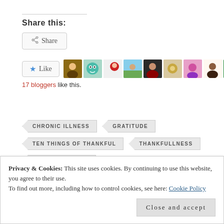Share this:
[Figure (other): Share button with share icon]
[Figure (other): Like button with star icon and 10 blogger avatars]
17 bloggers like this.
CHRONIC ILLNESS
GRATITUDE
TEN THINGS OF THANKFUL
THANKFULLNESS
TTOT CHALLENGE
Privacy & Cookies: This site uses cookies. By continuing to use this website, you agree to their use. To find out more, including how to control cookies, see here: Cookie Policy
Close and accept